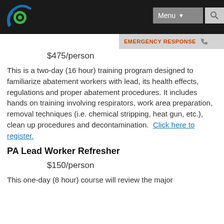Menu | EMERGENCY RESPONSE
$475/person
This is a two-day (16 hour) training program designed to familiarize abatement workers with lead, its health effects, regulations and proper abatement procedures. It includes hands on training involving respirators, work area preparation, removal techniques (i.e. chemical stripping, heat gun, etc.), clean up procedures and decontamination. Click here to register.
PA Lead Worker Refresher
$150/person
This one-day (8 hour) course will review the major